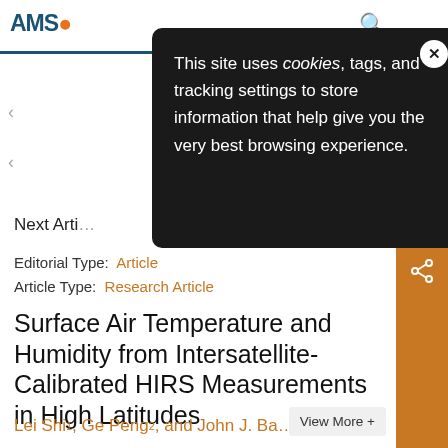AMS — American Meteorological Society
[Figure (screenshot): Cookie consent popup overlay on AMS website. Black rounded rectangle with white text: 'This site uses cookies, tags, and tracking settings to store information that help give you the very best browsing experience.' with a white X close button.]
Next Article
Editorial Type: Article
Article Type: Research Article
Surface Air Temperature and Humidity from Intersatellite-Calibrated HIRS Measurements in High Latitudes
Lei Shi¹, Ge Peng², and John J. Ba…